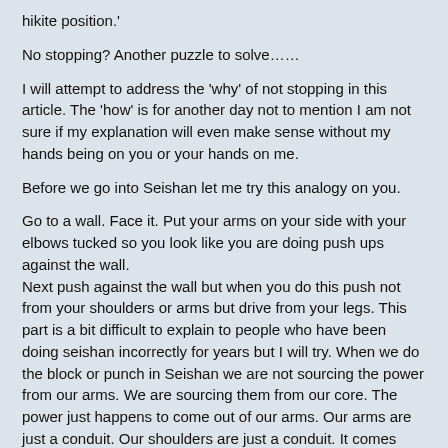hikite position.'
No stopping? Another puzzle to solve……
I will attempt to address the 'why' of not stopping in this article. The 'how' is for another day not to mention I am not sure if my explanation will even make sense without my hands being on you or your hands on me.
Before we go into Seishan let me try this analogy on you.
Go to a wall. Face it. Put your arms on your side with your elbows tucked so you look like you are doing push ups against the wall.
Next push against the wall but when you do this push not from your shoulders or arms but drive from your legs. This part is a bit difficult to explain to people who have been doing seishan incorrectly for years but I will try. When we do the block or punch in Seishan we are not sourcing the power from our arms. We are sourcing them from our core. The power just happens to come out of our arms. Our arms are just a conduit. Our shoulders are just a conduit. It comes from our core (tanden) which is driven by the heads of our femur which in turn is driven by our legs. One leg slightly extends and the other slightly contracts (one leg unbows, the other leg bows) and the force cross bodies so that the right leg drives the left hand and the left leg drives the right hand. This is basic.
So most people will crank their legs rotating the heads of their femur as